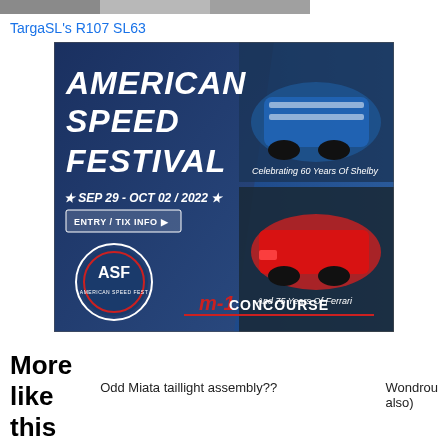[Figure (photo): Top strip showing partial image of a car]
TargaSL's R107 SL63
[Figure (illustration): American Speed Festival advertisement banner. SEP 29 - OCT 02 / 2022. Celebrating 60 Years Of Shelby and 75 Years Of Ferrari. M-1 Concourse. Entry / Tix Info.]
More like this
Odd Miata taillight assembly??
Wondrou also)